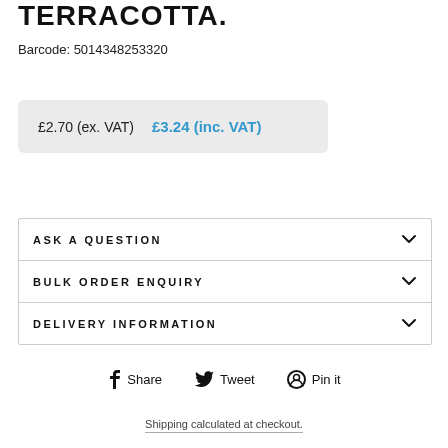TERRACOTTA.
Barcode: 5014348253320
£2.70 (ex. VAT)   £3.24 (inc. VAT)
ASK A QUESTION
BULK ORDER ENQUIRY
DELIVERY INFORMATION
Share   Tweet   Pin it
Shipping calculated at checkout.